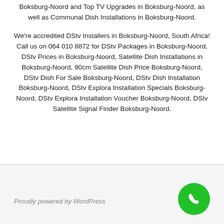Boksburg-Noord and Top TV Upgrades in Boksburg-Noord, as well as Communal Dish Installations in Boksburg-Noord.
We're accredited DStv Installers in Boksburg-Noord, South Africa! Call us on 064 010 8872 for DStv Packages in Boksburg-Noord, DStv Prices in Boksburg-Noord, Satellite Dish Installations in Boksburg-Noord, 90cm Satellite Dish Price Boksburg-Noord, DStv Dish For Sale Boksburg-Noord, DStv Dish Installation Boksburg-Noord, DStv Explora Installation Specials Boksburg-Noord, DStv Explora Installation Voucher Boksburg-Noord, DStv Satellite Signal Finder Boksburg-Noord.
Proudly powered by WordPress